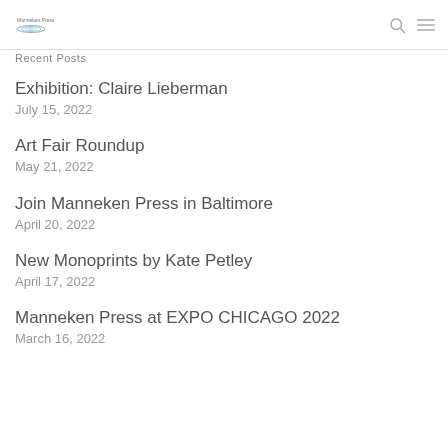Manneken Press
Recent Posts
Exhibition: Claire Lieberman
July 15, 2022
Art Fair Roundup
May 21, 2022
Join Manneken Press in Baltimore
April 20, 2022
New Monoprints by Kate Petley
April 17, 2022
Manneken Press at EXPO CHICAGO 2022
March 16, 2022